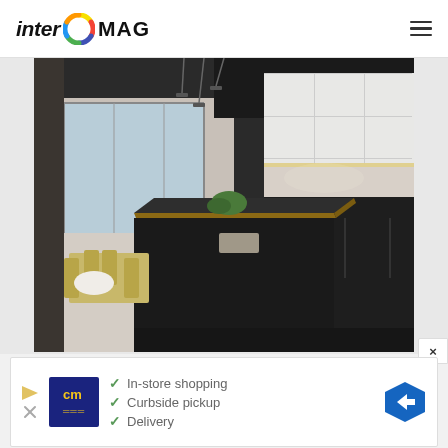inter MAG
[Figure (photo): Modern dark kitchen interior with a large central island featuring wood trim edges, dark matte cabinetry, pendant track lighting, and an open-plan dining and living area visible in the background with floor-to-ceiling windows.]
[Figure (infographic): Advertisement banner with CM logo, checkmark list of In-store shopping, Curbside pickup, Delivery, and a blue navigation arrow icon on the right.]